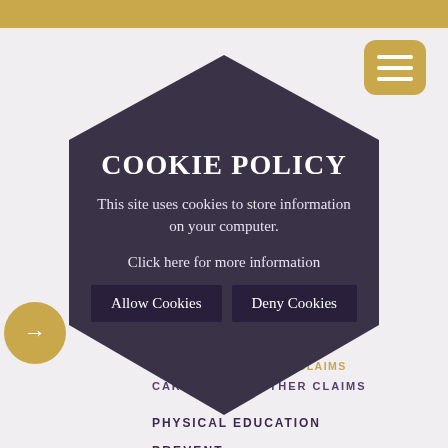ANTIBULLYING
COMMUNICATIONS
CAREERS AND OTHER CLAIMS
PHYSICAL EDUCATION
PREVENT
[Figure (screenshot): Cookie policy modal overlay in a dark hexagonal shape on a light purple/grey background. Contains title 'COOKIE POLICY', description text 'This site uses cookies to store information on your computer.', a 'Click here for more information' link, and two buttons: 'Allow Cookies' and 'Deny Cookies'. Background shows a school/education website navigation with gold top bar and hamburger menu.]
COOKIE POLICY
This site uses cookies to store information on your computer.
Click here for more information
Allow Cookies
Deny Cookies